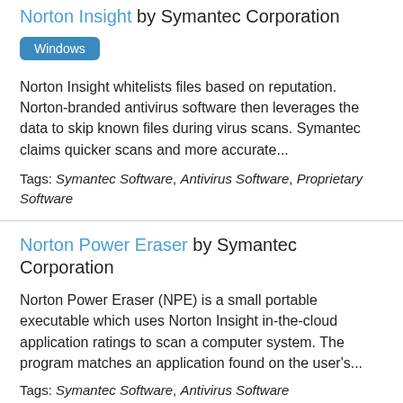Norton Insight by Symantec Corporation
Windows
Norton Insight whitelists files based on reputation. Norton-branded antivirus software then leverages the data to skip known files during virus scans. Symantec claims quicker scans and more accurate...
Tags: Symantec Software, Antivirus Software, Proprietary Software
Norton Power Eraser by Symantec Corporation
Norton Power Eraser (NPE) is a small portable executable which uses Norton Insight in-the-cloud application ratings to scan a computer system. The program matches an application found on the user's...
Tags: Symantec Software, Antivirus Software